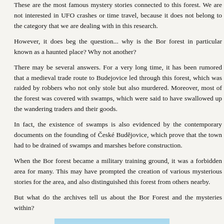These are the most famous mystery stories connected to this forest. We are not interested in UFO crashes or time travel, because it does not belong to the category that we are dealing with in this research.
However, it does beg the question... why is the Bor forest in particular known as a haunted place? Why not another?
There may be several answers. For a very long time, it has been rumored that a medieval trade route to Budejovice led through this forest, which was raided by robbers who not only stole but also murdered. Moreover, most of the forest was covered with swamps, which were said to have swallowed up the wandering traders and their goods.
In fact, the existence of swamps is also evidenced by the contemporary documents on the founding of České Budějovice, which prove that the town had to be drained of swamps and marshes before construction.
When the Bor forest became a military training ground, it was a forbidden area for many. This may have prompted the creation of various mysterious stories for the area, and also distinguished this forest from others nearby.
But what do the archives tell us about the Bor Forest and the mysteries within?
[Figure (photo): A photograph of the Bor forest showing a treeline of dark conifers against a pale blue sky with a low building or structure visible among the trees.]